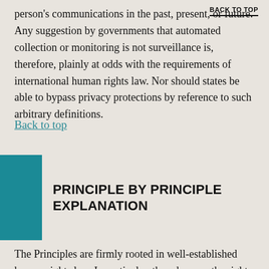person's communications in the past, present, or future. Any suggestion by governments that automated collection or monitoring is not surveillance is, therefore, plainly at odds with the requirements of international human rights law. Nor should states be able to bypass privacy protections by reference to such arbitrary definitions.
BACK TO TOP
Back to top
PRINCIPLE BY PRINCIPLE EXPLANATION
The Principles are firmly rooted in well-established human rights law. In particular, they draw on the rights to privacy, freedom of opinion and expression, and freedom of association as guaranteed in the Universal Declaration of Human Rights (UDHR), the International Covenant on Civil and Political